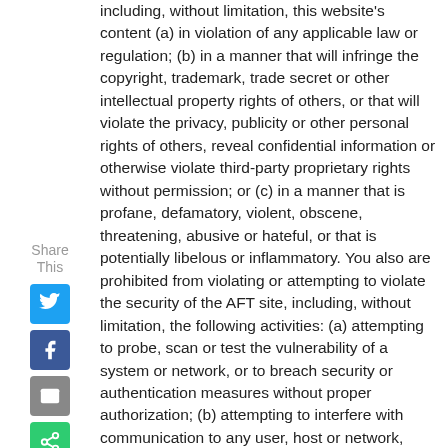including, without limitation, this website's content (a) in violation of any applicable law or regulation; (b) in a manner that will infringe the copyright, trademark, trade secret or other intellectual property rights of others, or that will violate the privacy, publicity or other personal rights of others, reveal confidential information or otherwise violate third-party proprietary rights without permission; or (c) in a manner that is profane, defamatory, violent, obscene, threatening, abusive or hateful, or that is potentially libelous or inflammatory. You also are prohibited from violating or attempting to violate the security of the AFT site, including, without limitation, the following activities: (a) attempting to probe, scan or test the vulnerability of a system or network, or to breach security or authentication measures without proper authorization; (b) attempting to interfere with communication to any user, host or network,